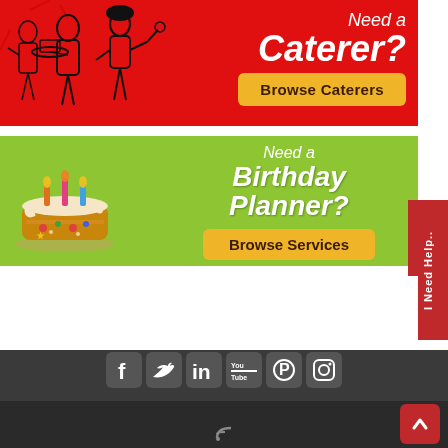[Figure (infographic): Red banner advertisement with catering staff silhouettes illustration on the left and text 'Need a Caterer?' with 'Browse Caterers' yellow button on the right]
[Figure (infographic): Green banner advertisement with birthday cake illustration on the left and text 'Need a Birthday Planner?' with 'Browse Services' yellow button on the right]
[Figure (infographic): Red vertical tab on the right side reading 'I Need Help..']
[Figure (infographic): Dark footer area with social media icons: Facebook, Twitter, LinkedIn, YouTube, Pinterest, Instagram, and RSS feed icon. Red back-to-top button on bottom right.]